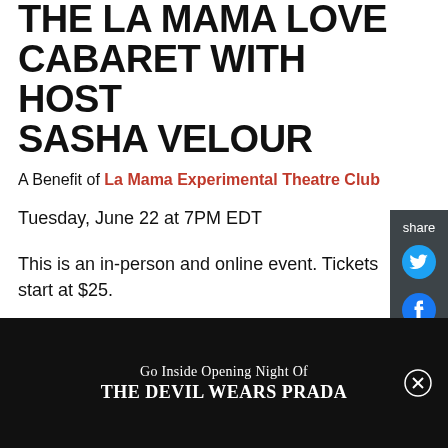THE LA MAMA LOVE CABARET WITH HOST SASHA VELOUR
A Benefit of La Mama Experimental Theatre Club
Tuesday, June 22 at 7PM EDT
This is an in-person and online event. Tickets start at $25.
The La MaMa Love Cabaret celebrates intersectional queerness at this moment of historical change. This fundraising event brings together New York's most
Go Inside Opening Night Of THE DEVIL WEARS PRADA